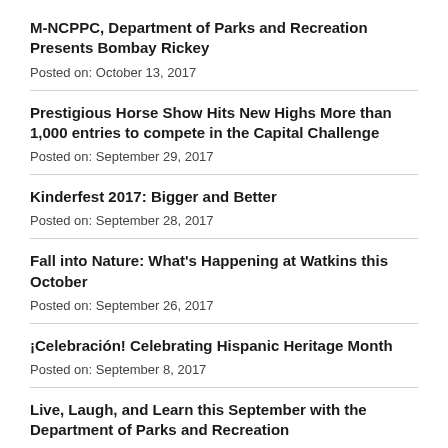M-NCPPC, Department of Parks and Recreation Presents Bombay Rickey
Posted on: October 13, 2017
Prestigious Horse Show Hits New Highs More than 1,000 entries to compete in the Capital Challenge
Posted on: September 29, 2017
Kinderfest 2017: Bigger and Better
Posted on: September 28, 2017
Fall into Nature: What's Happening at Watkins this October
Posted on: September 26, 2017
¡Celebración! Celebrating Hispanic Heritage Month
Posted on: September 8, 2017
Live, Laugh, and Learn this September with the Department of Parks and Recreation
Posted on: August 30, 2017